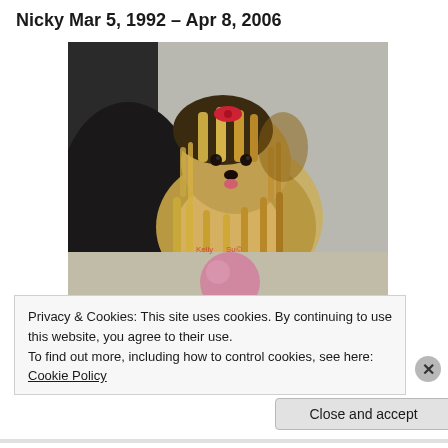Nicky Mar 5, 1992 – Apr 8, 2006
[Figure (photo): A Yorkshire Terrier dog with long silky fur and a red bow on its head, lying down with a pink ball in front of it. The dog is looking at the camera. Photo appears to be from a pet memorial website.]
Privacy & Cookies: This site uses cookies. By continuing to use this website, you agree to their use.
To find out more, including how to control cookies, see here: Cookie Policy